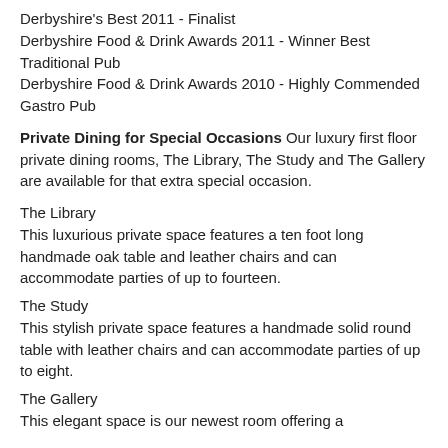Derbyshire's Best 2011 - Finalist
Derbyshire Food & Drink Awards 2011 - Winner Best Traditional Pub
Derbyshire Food & Drink Awards 2010 - Highly Commended Gastro Pub
Private Dining for Special Occasions Our luxury first floor private dining rooms, The Library, The Study and The Gallery are available for that extra special occasion.
The Library
This luxurious private space features a ten foot long handmade oak table and leather chairs and can accommodate parties of up to fourteen.
The Study
This stylish private space features a handmade solid round table with leather chairs and can accommodate parties of up to eight.
The Gallery
This elegant space is our newest room offering a